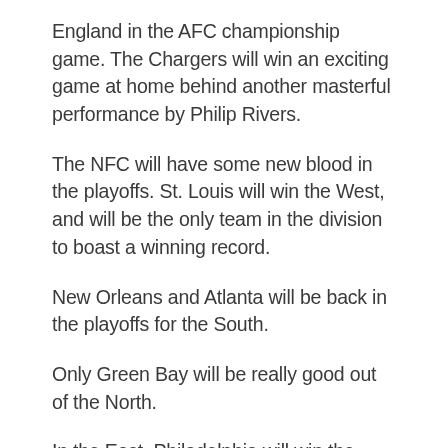England in the AFC championship game. The Chargers will win an exciting game at home behind another masterful performance by Philip Rivers.
The NFC will have some new blood in the playoffs. St. Louis will win the West, and will be the only team in the division to boast a winning record.
New Orleans and Atlanta will be back in the playoffs for the South.
Only Green Bay will be really good out of the North.
In the East, Philadelphia will win the division and New York will beat Dallas in a tiebreaker.
Aaron Rodgers will have another good post-season, but this time Matt Ryan and the Falcons will crash the party, and...